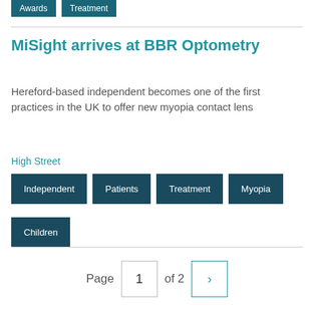Awards
Treatment
MiSight arrives at BBR Optometry
Hereford-based independent becomes one of the first practices in the UK to offer new myopia contact lens
High Street
Independent
Patients
Treatment
Myopia
Children
Page 1 of 2 >